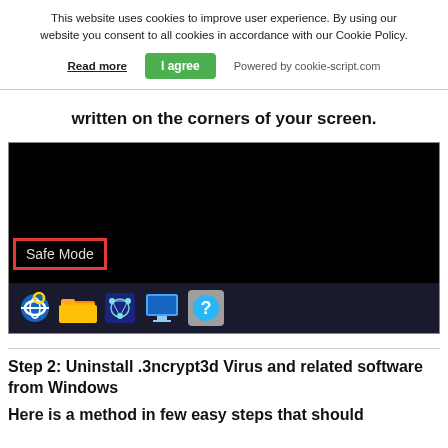This website uses cookies to improve user experience. By using our website you consent to all cookies in accordance with our Cookie Policy. Read more   I agree   Powered by cookie-script.com
written on the corners of your screen.
[Figure (screenshot): Screenshot showing Windows desktop in Safe Mode. The bottom-left corner has a red rectangle highlighting the text 'Safe Mode' in white on black background. The taskbar at the bottom shows Internet Explorer, folder, crystal ball/network, monitor, and help icons.]
Step 2: Uninstall .3ncrypt3d Virus and related software from Windows
Here is a method in few easy steps that should